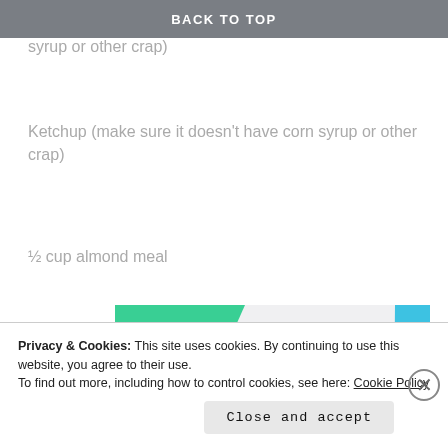BACK TO TOP
Worchestershire Sauce (make sure it doesn't have corn syrup or other crap)
Ketchup (make sure it doesn't have corn syrup or other crap)
½ cup almond meal
[Figure (illustration): Advertisement banner with green triangle shape top-left, blue curved shape top-right, bold text 'How to start selling subscriptions online', and a purple button below on a light gray background.]
Privacy & Cookies: This site uses cookies. By continuing to use this website, you agree to their use.
To find out more, including how to control cookies, see here: Cookie Policy
Close and accept